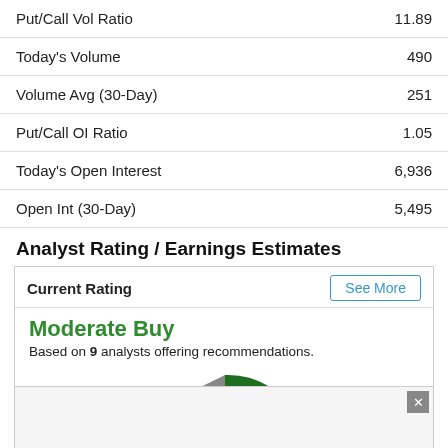| Metric | Value |
| --- | --- |
| Put/Call Vol Ratio | 11.89 |
| Today's Volume | 490 |
| Volume Avg (30-Day) | 251 |
| Put/Call OI Ratio | 1.05 |
| Today's Open Interest | 6,936 |
| Open Int (30-Day) | 5,495 |
Analyst Rating / Earnings Estimates
Current Rating
Moderate Buy
Based on 9 analysts offering recommendations.
[Figure (pie-chart): Partial pie chart showing analyst ratings, with gray and dark green slices visible. Chart is partially obscured by an advertisement overlay.]